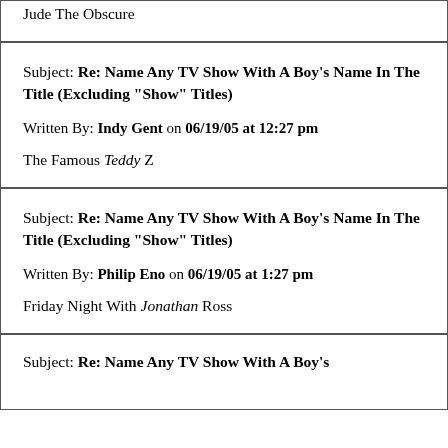Jude The Obscure
Subject: Re: Name Any TV Show With A Boy's Name In The Title (Excluding "Show" Titles)
Written By: Indy Gent on 06/19/05 at 12:27 pm
The Famous Teddy Z
Subject: Re: Name Any TV Show With A Boy's Name In The Title (Excluding "Show" Titles)
Written By: Philip Eno on 06/19/05 at 1:27 pm
Friday Night With Jonathan Ross
Subject: Re: Name Any TV Show With A Boy's